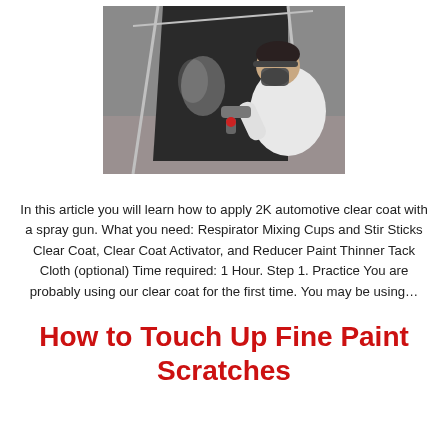[Figure (photo): A person wearing a respirator/safety mask and white shirt using a spray gun to apply paint/clear coat on a dark surface, in what appears to be a workshop or spray booth setting.]
In this article you will learn how to apply 2K automotive clear coat with a spray gun. What you need: Respirator Mixing Cups and Stir Sticks Clear Coat, Clear Coat Activator, and Reducer Paint Thinner Tack Cloth (optional) Time required: 1 Hour. Step 1. Practice You are probably using our clear coat for the first time. You may be using…
How to Touch Up Fine Paint Scratches